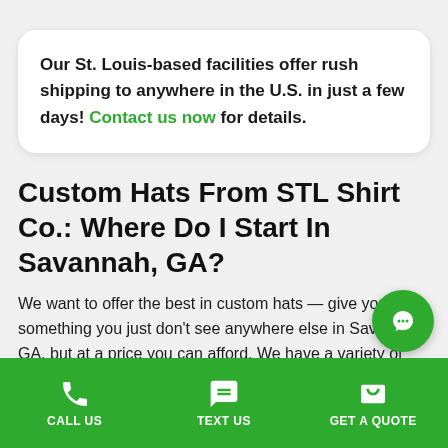Our St. Louis-based facilities offer rush shipping to anywhere in the U.S. in just a few days! Contact us now for details.
Custom Hats From STL Shirt Co.: Where Do I Start In Savannah, GA?
We want to offer the best in custom hats — give you something you just don't see anywhere else in Savannah, GA, but at a price you can afford. We have a variety of
CALL US   TEXT US   GET A QUOTE